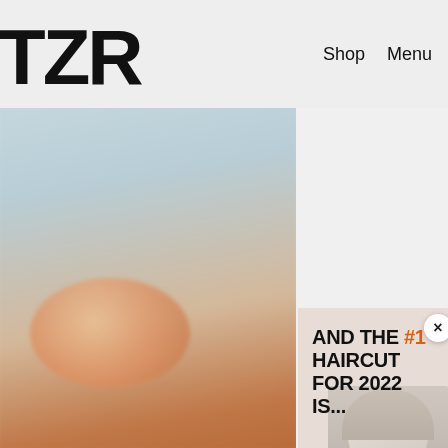TZR
Shop   Menu
[Figure (photo): Blurred background photo showing a citrus fruit and warm toned products on a light blue/teal background]
[Figure (photo): Modal popup banner with beige background showing text AND THE #1 HAIRCUT FOR 2022 IS... with a black-and-white photo of a woman with blonde hair]
Join The List
Sign up for TZR's exclusive email list to uncover this season's top trends
Email address
Subscribe